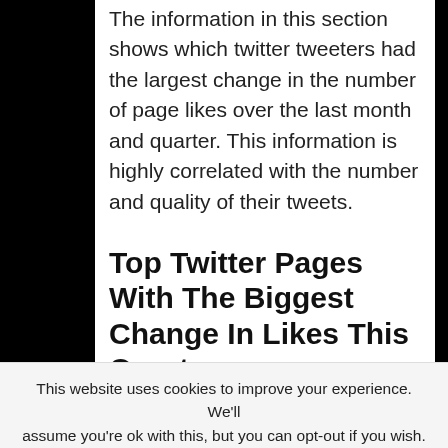The information in this section shows which twitter tweeters had the largest change in the number of page likes over the last month and quarter. This information is highly correlated with the number and quality of their tweets.
Top Twitter Pages With The Biggest Change In Likes This Quarter
Chan
This website uses cookies to improve your experience. We'll assume you're ok with this, but you can opt-out if you wish.